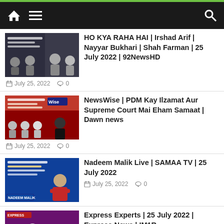Navigation bar with home, menu, and search icons
[Figure (screenshot): Thumbnail for HO KYA RAHA HAI show with news anchors]
HO KYA RAHA HAI | Irshad Arif | Nayyar Bukhari | Shah Farman | 25 July 2022 | 92NewsHD
July 25, 2022   0
[Figure (screenshot): Thumbnail for NewsWise show with panel of guests]
NewsWise | PDM Kay Ilzamat Aur Supreme Court Mai Eham Samaat | Dawn news
July 25, 2022   0
[Figure (screenshot): Thumbnail for Nadeem Malik Live on SAMAA TV]
Nadeem Malik Live | SAMAA TV | 25 July 2022
July 25, 2022   0
[Figure (screenshot): Thumbnail for Express Experts on Express News]
Express Experts | 25 July 2022 | Express News | IM1R
July 25, 2022   0